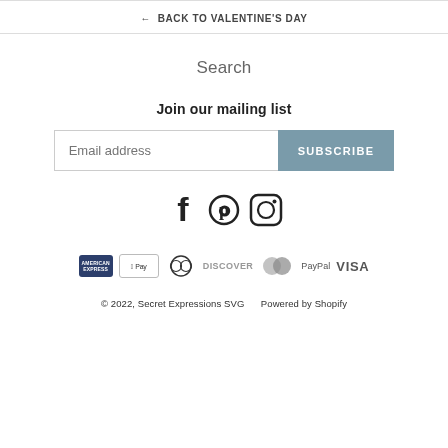← BACK TO VALENTINE'S DAY
Search
Join our mailing list
Email address  SUBSCRIBE
[Figure (other): Social media icons: Facebook, Pinterest, Instagram]
[Figure (other): Payment method icons: American Express, Apple Pay, Diners Club, Discover, Mastercard, PayPal, Visa]
© 2022, Secret Expressions SVG    Powered by Shopify